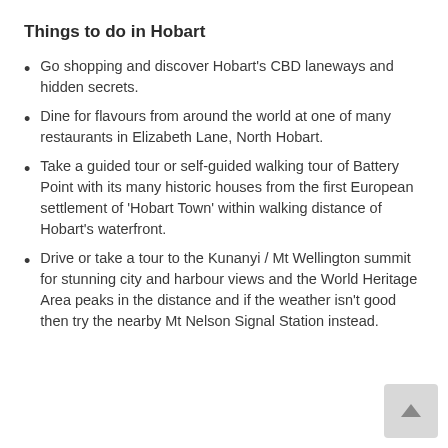Things to do in Hobart
Go shopping and discover Hobart’s CBD laneways and hidden secrets.
Dine for flavours from around the world at one of many restaurants in Elizabeth Lane, North Hobart.
Take a guided tour or self-guided walking tour of Battery Point with its many historic houses from the first European settlement of ‘Hobart Town’ within walking distance of Hobart’s waterfront.
Drive or take a tour to the Kunanyi / Mt Wellington summit for stunning city and harbour views and the World Heritage Area peaks in the distance and if the weather isn’t good then try the nearby Mt Nelson Signal Station instead.